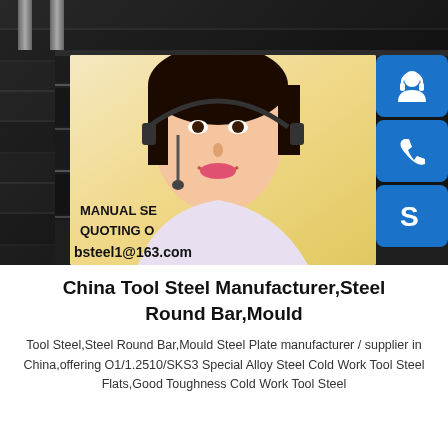[Figure (photo): Photo of stacked dark steel plates/sheets on railway tracks background, with an overlaid customer service representative (woman with headset) and three blue icon buttons (headset/person, phone, Skype 'S' logo). Text overlay reads 'MANUAL SE...', 'QUOTING O...', 'bsteel1@163.com']
China Tool Steel Manufacturer,Steel Round Bar,Mould
Tool Steel,Steel Round Bar,Mould Steel Plate manufacturer / supplier in China,offering O1/1.2510/SKS3 Special Alloy Steel Cold Work Tool Steel Flats,Good Toughness Cold Work Tool Steel